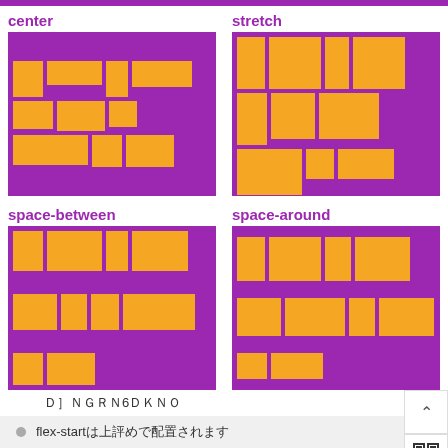[Figure (infographic): Four flex layout demo boxes showing align-content values: center, stretch, space-between, space-around. Each shows purple background with orange blocks arranged in rows.]
図6
flex-startは上詰めで配置されます